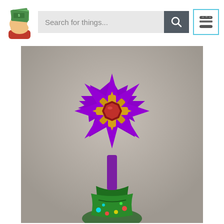[Figure (logo): Hand holding money/cash logo icon]
[Figure (screenshot): Search bar with placeholder text 'Search for things...' and a dark search button with magnifying glass icon]
[Figure (photo): A 3D printed purple star-shaped Christmas tree topper resembling Starmie from Pokemon, with a gold and dark red center piece, mounted on top of a Christmas tree with colorful lights visible at the bottom]